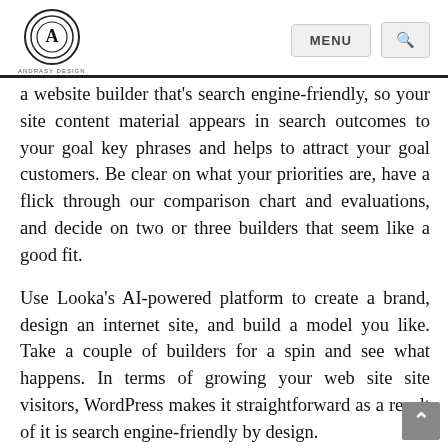Andrasy Design | MENU [search]
a website builder that's search engine-friendly, so your site content material appears in search outcomes to your goal key phrases and helps to attract your goal customers. Be clear on what your priorities are, have a flick through our comparison chart and evaluations, and decide on two or three builders that seem like a good fit.
Use Looka's AI-powered platform to create a brand, design an internet site, and build a model you like. Take a couple of builders for a spin and see what happens. In terms of growing your web site site visitors, WordPress makes it straightforward as a result of it is search engine-friendly by design.